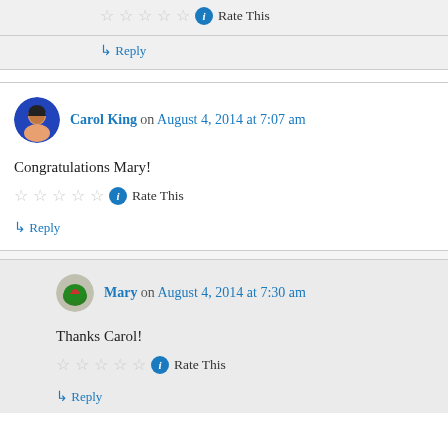Rate This
↳ Reply
Carol King on August 4, 2014 at 7:07 am
Congratulations Mary!
Rate This
↳ Reply
Mary on August 4, 2014 at 7:30 am
Thanks Carol!
Rate This
↳ Reply